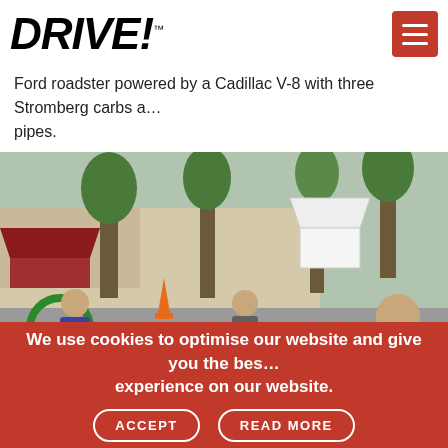DRIVE!
Ford roadster powered by a Cadillac V-8 with three Stromberg carbs a… pipes.
[Figure (photo): Outdoor street event showing small custom racing cars/karts on display, with people including children examining them closely. Several colorful miniature dragsters/race cars visible. Trees, tents, and street scene in background.]
We use cookies to optimise our website and give you the best experience on our website.
ACCEPT    READ MORE